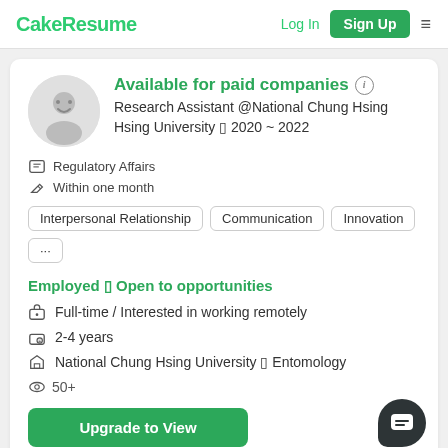CakeResume   Log In   Sign Up
Available for paid companies
Research Assistant @National Chung Hsing University 〡 2020 ~ 2022
Regulatory Affairs
Within one month
Interpersonal Relationship
Communication
Innovation
...
Employed 〡 Open to opportunities
Full-time / Interested in working remotely
2-4 years
National Chung Hsing University 〡 Entomology
50+
Upgrade to View